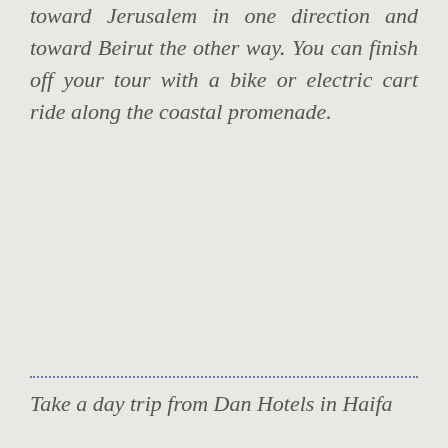toward Jerusalem in one direction and toward Beirut the other way. You can finish off your tour with a bike or electric cart ride along the coastal promenade.
Take a day trip from Dan Hotels in Haifa